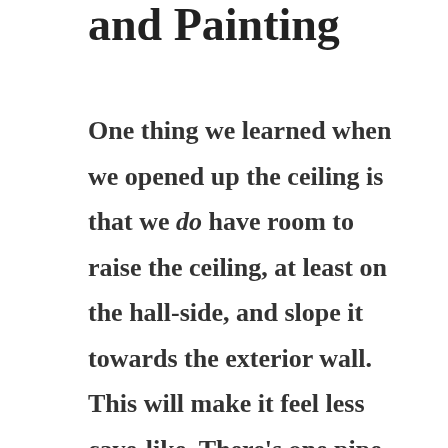and Painting
One thing we learned when we opened up the ceiling is that we do have room to raise the ceiling, at least on the hall-side, and slope it towards the exterior wall. This will make it feel less cave-like. There's one pipe in the way, a big cast iron deal, that is the current commode's vent. Because it'll need to stay where it is (same with the vertical stack behind the current commode) until the new toilet is in place, that means the ceiling will need to be done later than the rest of (most of) the drywall. This is an inconvenience I can live with in exchange for higher ceilings.